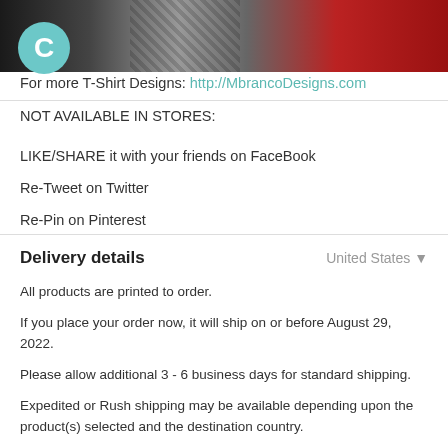[Figure (photo): T-shirt product photo showing black, grey and red shirts at the top of the page, with a teal copyright circle overlay on the left]
For more T-Shirt Designs: http://MbrancoDesigns.com
NOT AVAILABLE IN STORES:
LIKE/SHARE it with your friends on FaceBook
Re-Tweet on Twitter
Re-Pin on Pinterest
Delivery details
United States
All products are printed to order.
If you place your order now, it will ship on or before August 29, 2022.
Please allow additional 3 - 6 business days for standard shipping.
Expedited or Rush shipping may be available depending upon the product(s) selected and the destination country.